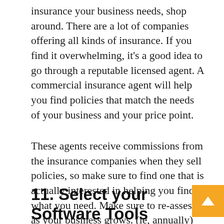insurance your business needs, shop around. There are a lot of companies offering all kinds of insurance. If you find it overwhelming, it's a good idea to go through a reputable licensed agent. A commercial insurance agent will help you find policies that match the needs of your business and your price point.
These agents receive commissions from the insurance companies when they sell policies, so make sure to find one that is actually interested in helping you find what you need. Make sure to re-assess as your business grows. (ie, annually) As your needs change, you'll likely have a need to update your policies as well.
11. Select your Software Tools